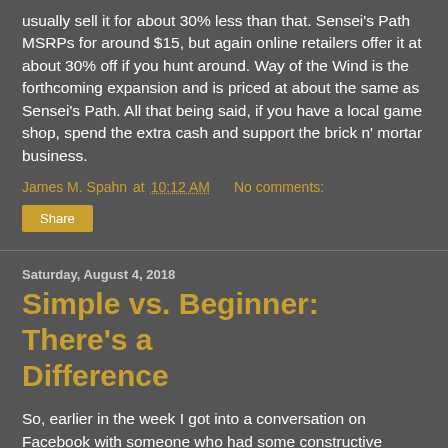usually sell it for about 30% less than that. Sensei's Path MSRPs for around $15, but again online retailers offer it at about 30% off if you hunt around. Way of the Wind is the forthcoming expansion and is priced at about the same as Sensei's Path. All that being said, if you have a local game shop, spend the extra cash and support the brick n' mortar business.
James M. Spahn at 10:12 AM   No comments:
Share
Saturday, August 4, 2018
Simple vs. Beginner: There's a Difference
So, earlier in the week I got into a conversation on Facebook with someone who had some constructive criticism and questions regarding Untold Adventures. I encouraged them to ask their questions because the person was both